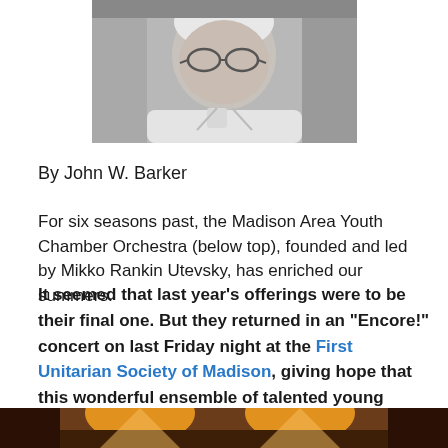[Figure (photo): Black and white portrait photo of an elderly man, cropped at shoulders, centered at top of page]
By John W. Barker
For six seasons past, the Madison Area Youth Chamber Orchestra (below top), founded and led by Mikko Rankin Utevsky, has enriched our summers.
It seemed that last year’s offerings were to be their final one. But they returned in an “Encore!” concert on last Friday night at the First Unitarian Society of Madison, giving hope that this wonderful ensemble of talented young musicians will yet continue to be with us.
[Figure (photo): Color photo of an orchestra performance at the bottom of the page, warm amber lighting visible]